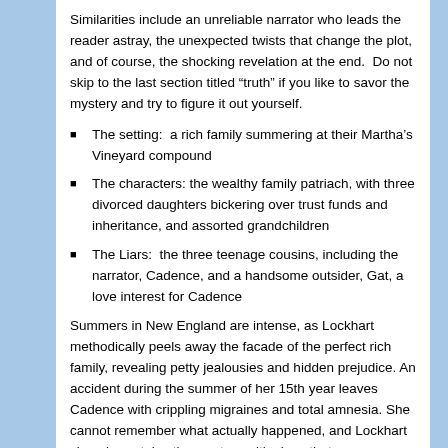Similarities include an unreliable narrator who leads the reader astray, the unexpected twists that change the plot, and of course, the shocking revelation at the end.  Do not skip to the last section titled “truth” if you like to savor the mystery and try to figure it out yourself.
The setting:  a rich family summering at their Martha’s Vineyard compound
The characters: the wealthy family patriach, with three divorced daughters bickering over trust funds and inheritance, and assorted grandchildren
The Liars:  the three teenage cousins, including the narrator, Cadence, and a handsome outsider, Gat, a love interest for Cadence
Summers in New England are intense, as Lockhart methodically peels away the facade of the perfect rich family, revealing petty jealousies and hidden prejudice. An accident during the summer of her 15th year leaves Cadence with crippling migraines and total amnesia. She cannot remember what actually happened, and Lockhart cleverly sustains the mystery with clues that